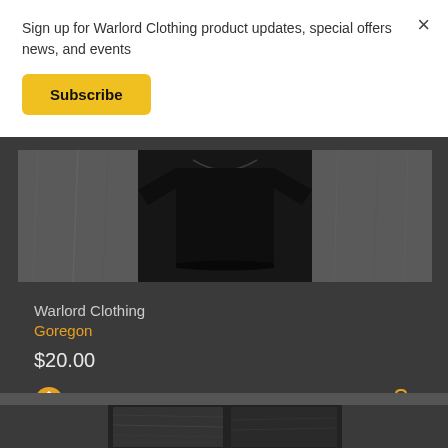Sign up for Warlord Clothing product updates, special offers news, and events
Subscribe
[Figure (photo): Black t-shirt hanging against a concrete/stone wall background, black and white photo]
Warlord Clothing
Goregon
$20.00
20
[Figure (photo): Partial view of another product at the bottom of the page, black and white photo]